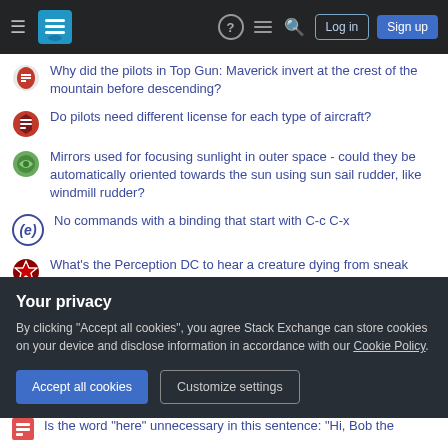Stack Exchange navigation bar with Log in and Sign up buttons
Why did the pilots in Top Gun: Maverick invert at the crest of the mountain before descending?
Do pilots need different license for each type of aircraft?
Mirrors used for focusing sunlight in outer space - could they be automatically oriented towards the sun using sun sail rudder, like windmill rudder?
No commands with a binding that start with C-c C-x
What's the Perception DC to hear a creature dying from sneak attack?
Why can't we accept the null hypothesis, but we can accept the alternative hypothesis?
Is it biologically plausible for a land animal to drink saltwater and not
Your privacy
By clicking "Accept all cookies", you agree Stack Exchange can store cookies on your device and disclose information in accordance with our Cookie Policy.
Accept all cookies  Customize settings
Is the word "here" unnecessary in this sentence: "Hi, Bob the